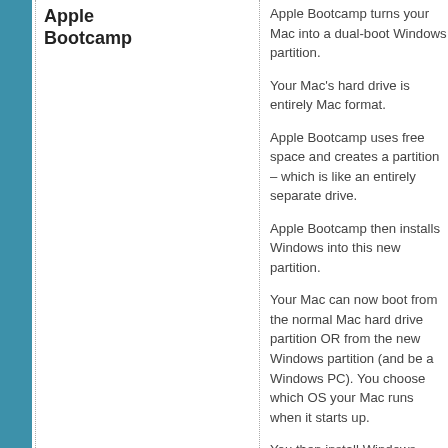Apple Bootcamp
Apple Bootcamp turns your Mac into a dual-boot Windows partition. Your Mac's hard drive is entirely Mac format. Apple Bootcamp uses free space and creates a partition – which is like an entirely separate drive. Apple Bootcamp then installs Windows into this new partition. Your Mac can now boot from the normal Mac hard drive partition OR from the new Windows partition (and be a Windows PC). You choose which OS your Mac runs when it starts up. You then install Windows applications you want to use when you're running Windows. With Apple Bootcamp you choose between two separate operating systems.